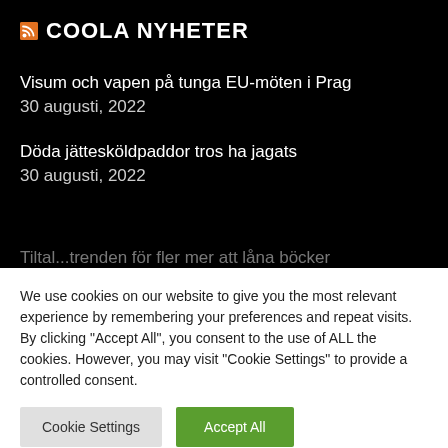COOLA NYHETER
Visum och vapen på tunga EU-möten i Prag
30 augusti, 2022
Döda jättesköldpaddor tros ha jagats
30 augusti, 2022
Tiltal...trenden för fler mer att läna böcker
We use cookies on our website to give you the most relevant experience by remembering your preferences and repeat visits. By clicking "Accept All", you consent to the use of ALL the cookies. However, you may visit "Cookie Settings" to provide a controlled consent.
Cookie Settings
Accept All